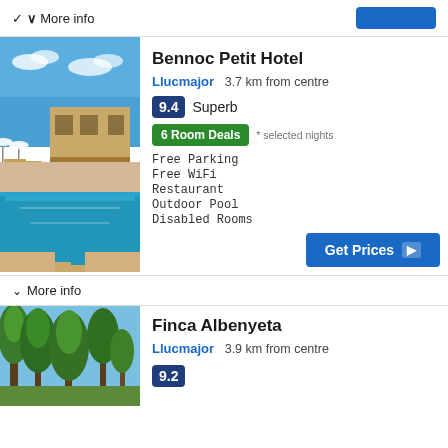▼ More info
Bennoc Petit Hotel
Llucmajor  3.7 km from centre
9.4  Superb
6 Room Deals  * selected nights
Free Parking
Free WiFi
Restaurant
Outdoor Pool
Disabled Rooms
Get Prices ▶
▼ More info
Finca Albenyeta
Llucmajor  3.9 km from centre